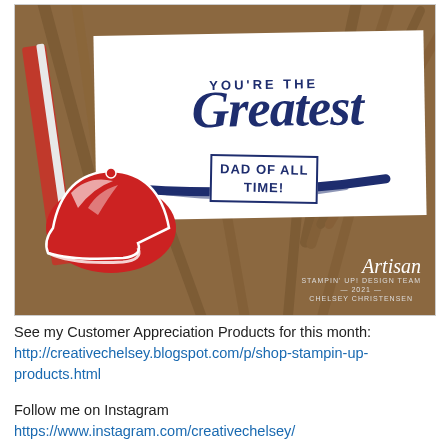[Figure (photo): A Stampin' Up Artisan Design Team card by Chelsey Christensen featuring a baseball-themed Father's Day card. The card reads 'You're the Greatest Dad of All Time!' with a red baseball cap die-cut, baseball bats on a craft paper background, and the Artisan Stampin' Up Design Team 2021 logo.]
See my Customer Appreciation Products for this month:
http://creativechelsey.blogspot.com/p/shop-stampin-up-products.html
Follow me on Instagram
https://www.instagram.com/creativechelsey/